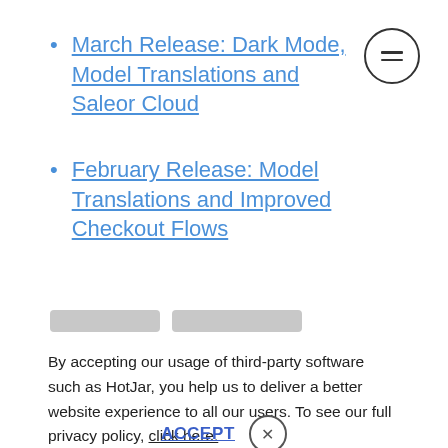March Release: Dark Mode, Model Translations and Saleor Cloud
February Release: Model Translations and Improved Checkout Flows
By accepting our usage of third-party software such as HotJar, you help us to deliver a better website experience to all our users. To see our full privacy policy, click here.
ACCEPT